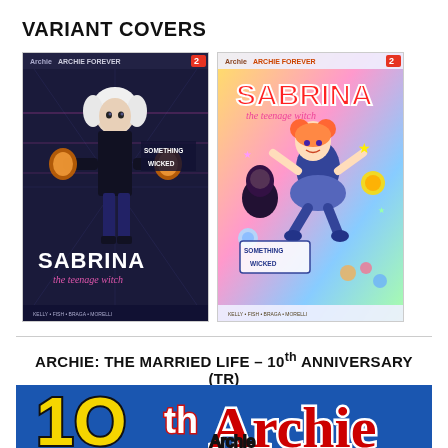VARIANT COVERS
[Figure (illustration): Two variant covers for Sabrina the Teenage Witch #2 (Archie Forever). Left cover shows a dark, gothic style with Sabrina in black outfit with white hair, glowing hands, title 'SABRINA the teenage witch' and 'SOMETHING WICKED'. Right cover shows a colorful, bright anime-like style with Sabrina and friends, same title and 'SOMETHING WICKED'.]
ARCHIE: THE MARRIED LIFE – 10th ANNIVERSARY (TR)
[Figure (illustration): Bottom portion of a blue book cover showing large stylized text '10th Archie' in yellow and red/white letters with black outlines, on a blue background.]